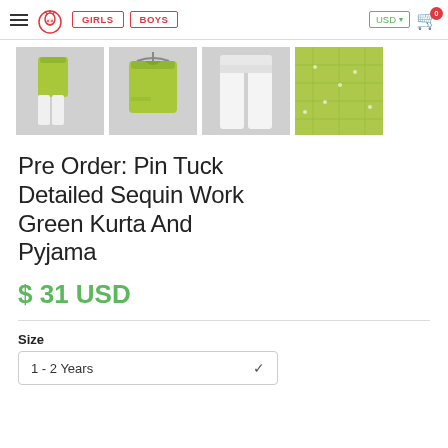GIRLS  BOYS  USD  0
[Figure (photo): Four product thumbnail images showing a lime green kurta and white pyjama set from different angles: full outfit front, kurta on hanger, pyjama laid flat, and fabric close-up.]
Pre Order: Pin Tuck Detailed Sequin Work Green Kurta And Pyjama
$ 31 USD
Size
1 - 2 Years